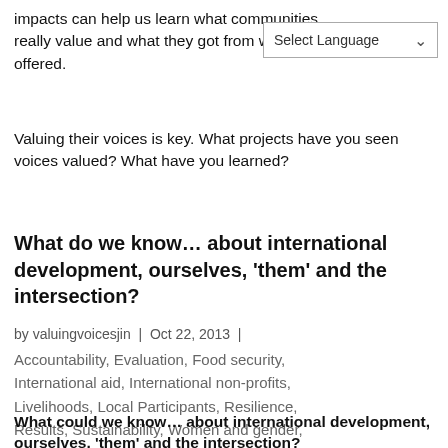impacts can help us learn what communities really value and what they got from what we offered.
[Figure (screenshot): Select Language dropdown widget in upper right corner]
Valuing their voices is key. What projects have you seen voices valued? What have you learned?
What do we know… about international development, ourselves, 'them' and the intersection?
by valuingvoicesjin | Oct 22, 2013 |
Accountability, Evaluation, Food security, International aid, International non-profits, Livelihoods, Local Participants, Resilience, Results, Sustainability, Women and gender, Youth
What could we know… about international development, ourselves, 'them' and the intersection?